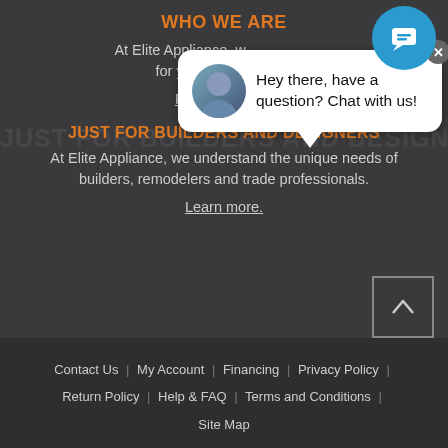[Figure (illustration): Blue circular chat button in upper right corner with speech bubble / chat icon in white]
[Figure (illustration): White speech bubble popup with avatar photo on left and text: Hey there, have a question? Chat with us!]
WHO WE ARE
At Elite Appliance, w... for your home shou...
Read our story.
JUST FOR BUILDERS AND DESIGNERS
At Elite Appliance, we understand the unique needs of builders, remodelers and trade professionals.
Learn more.
Contact Us | My Account | Financing | Privacy Policy | Return Policy | Help & FAQ | Terms and Conditions | Site Map